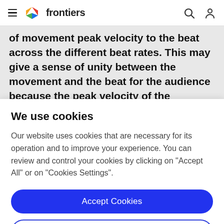frontiers
of movement peak velocity to the beat across the different beat rates. This may give a sense of unity between the movement and the beat for the audience because the peak velocity of the rhythmic movement
We use cookies
Our website uses cookies that are necessary for its operation and to improve your experience. You can review and control your cookies by clicking on "Accept All" or on "Cookies Settings".
Accept Cookies
Cookies Settings